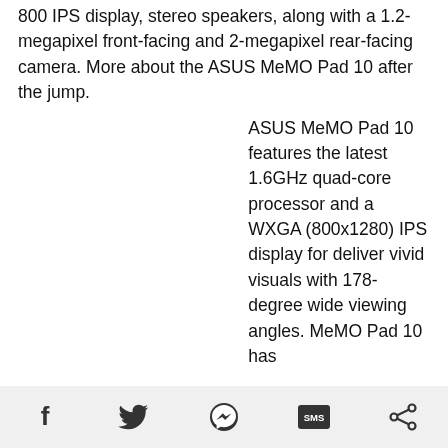800 IPS display, stereo speakers, along with a 1.2-megapixel front-facing and 2-megapixel rear-facing camera. More about the ASUS MeMO Pad 10 after the jump.
ASUS MeMO Pad 10 features the latest 1.6GHz quad-core processor and a WXGA (800x1280) IPS display for deliver vivid visuals with 178-degree wide viewing angles. MeMO Pad 10 has
[Figure (other): Social sharing footer bar with icons: Facebook, Twitter, Messenger, SMS, Share]